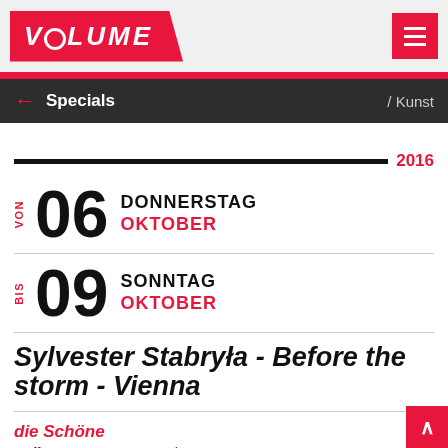VOLUME
← Specials / Kunst
2016
VON 06 DONNERSTAG OKTOBER
BIS 09 SONNTAG OKTOBER
Sylvester Stabryła - Before the storm - Vienna
die Schöne
Kuffnergasse 7, 1160 Wien